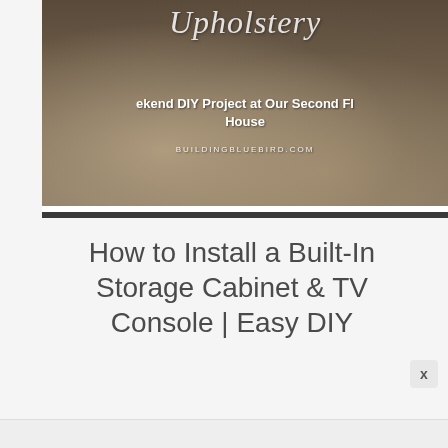[Figure (photo): A photo overlaid with text showing a couch/sofa scene from a home. Text overlay reads a partially visible script title at top, subtitle 'Weekend DIY Project at Our Second Fl... House' and website 'BUILDINGBLUEBIRD.COM']
How to Install a Built-In Storage Cabinet & TV Console | Easy DIY